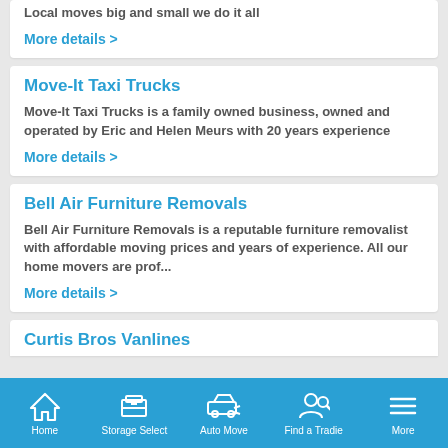Local moves big and small we do it all
More details >
Move-It Taxi Trucks
Move-It Taxi Trucks is a family owned business, owned and operated by Eric and Helen Meurs with 20 years experience
More details >
Bell Air Furniture Removals
Bell Air Furniture Removals is a reputable furniture removalist with affordable moving prices and years of experience. All our home movers are prof...
More details >
Curtis Bros Vanlines
Home | Storage Select | Auto Move | Find a Tradie | More